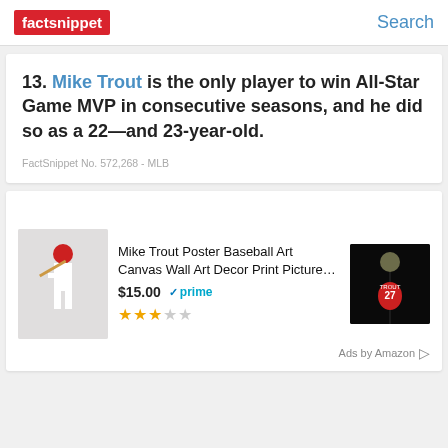factsnippet | Search
13. Mike Trout is the only player to win All-Star Game MVP in consecutive seasons, and he did so as a 22—and 23-year-old.
FactSnippet No. 572,268 - MLB
[Figure (illustration): Amazon ad showing Mike Trout Poster Baseball Art Canvas Wall Art Decor Print Picture for $15.00 with prime badge and 3-star rating, with two product images]
Ads by Amazon